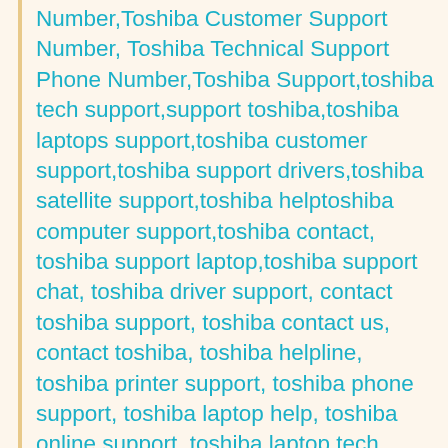Number,Toshiba Customer Support Number, Toshiba Technical Support Phone Number,Toshiba Support,toshiba tech support,support toshiba,toshiba laptops support,toshiba customer support,toshiba support drivers,toshiba satellite support,toshiba helptoshiba computer support,toshiba contact, toshiba support laptop,toshiba support chat, toshiba driver support, contact toshiba support, toshiba contact us, contact toshiba, toshiba helpline, toshiba printer support, toshiba phone support, toshiba laptop help, toshiba online support, toshiba laptop tech support,Asus Support Number,Asus Customer Service Number,Asus Phone Number,Asus Customer Support Number,Asus Tech Support Number,Asus Customer Service Phone Number,Asus Tech Support Phone Number,Asus Number, Asus